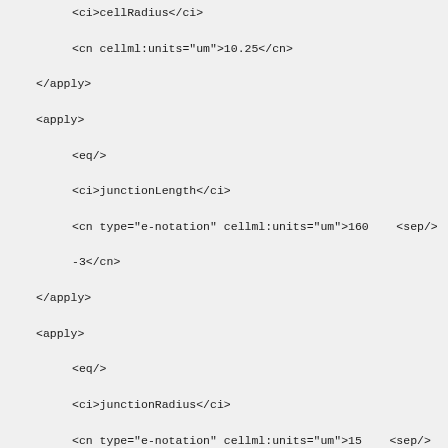XML/CellML code snippet showing apply elements with eq, ci, and cn tags for cellRadius, junctionLength, junctionRadius, distSLcyto, distJuncSL, and DcaJuncSL parameters